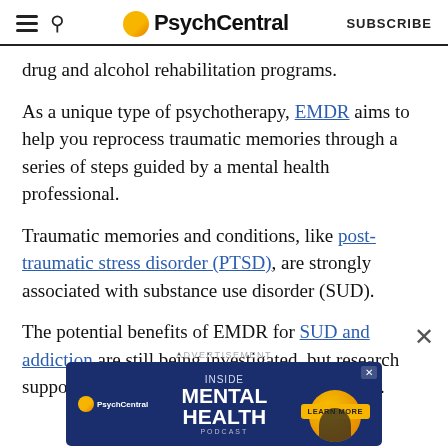PsychCentral — SUBSCRIBE
drug and alcohol rehabilitation programs.
As a unique type of psychotherapy, EMDR aims to help you reprocess traumatic memories through a series of steps guided by a mental health professional.
Traumatic memories and conditions, like post-traumatic stress disorder (PTSD), are strongly associated with substance use disorder (SUD).
The potential benefits of EMDR for SUD and addiction are still being investigated, but research supports its effectiveness for trauma symptoms.
[Figure (screenshot): PsychCentral advertisement banner for 'Inside Mental Health Podcast' with dark blue background, yellow circle graphic, PsychCentral logo, and 'Learn More' button.]